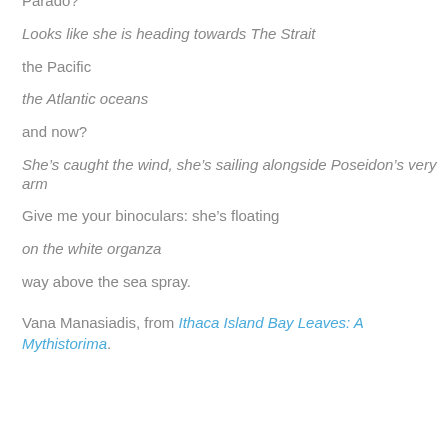Parado?
Looks like she is heading towards The Strait
the Pacific
the Atlantic oceans
and now?
She’s caught the wind, she’s sailing alongside Poseidon’s very arm
Give me your binoculars: she’s floating
on the white organza
way above the sea spray.
Vana Manasiadis, from Ithaca Island Bay Leaves: A Mythistorima.